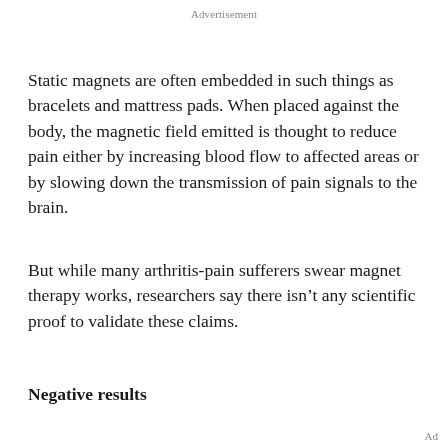Advertisement
Static magnets are often embedded in such things as bracelets and mattress pads. When placed against the body, the magnetic field emitted is thought to reduce pain either by increasing blood flow to affected areas or by slowing down the transmission of pain signals to the brain.
But while many arthritis-pain sufferers swear magnet therapy works, researchers say there isn't any scientific proof to validate these claims.
Negative results
Ad